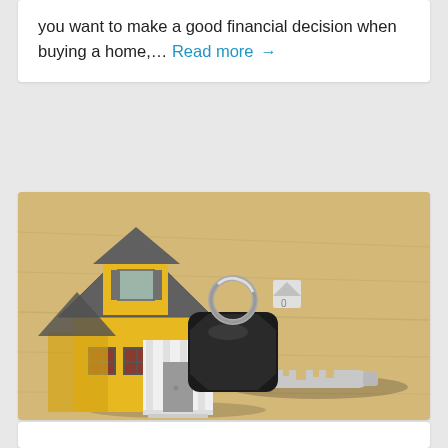you want to make a good financial decision when buying a home,… Read more →
[Figure (photo): A miniature model house (yellow walls, gray roof) sitting on a wooden table next to a car/house key with a black fob and keyring.]